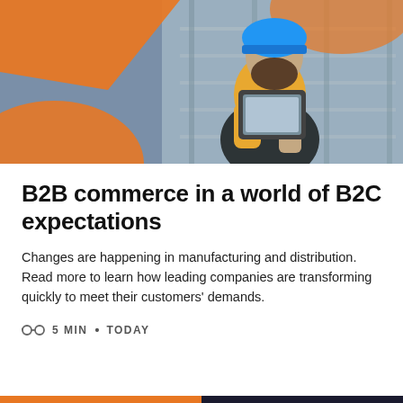[Figure (photo): A bearded man wearing a yellow t-shirt, blue hard hat, and dark overalls using a tablet in an industrial warehouse setting with metal shelving. Large orange geometric shapes overlay the left and top portions of the image.]
B2B commerce in a world of B2C expectations
Changes are happening in manufacturing and distribution. Read more to learn how leading companies are transforming quickly to meet their customers' demands.
5 MIN • TODAY